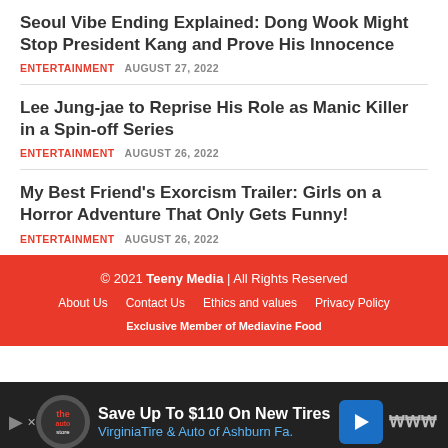Seoul Vibe Ending Explained: Dong Wook Might Stop President Kang and Prove His Innocence
ENTERTAINMENT   AUGUST 27, 2022
Lee Jung-jae to Reprise His Role as Manic Killer in a Spin-off Series
ENTERTAINMENT   AUGUST 26, 2022
My Best Friend's Exorcism Trailer: Girls on a Horror Adventure That Only Gets Funny!
ENTERTAINMENT   AUGUST 26, 2022
© 2021 Teeny Media | All Rights Reserved
About Us   Contact Us   Ethics and values   Privacy Policy
Exclusive Member of Mediavine Food
[Figure (screenshot): Advertisement banner: Save Up To $110 On New Tires - VirginiaTire & Auto of Ashburn Fa.]